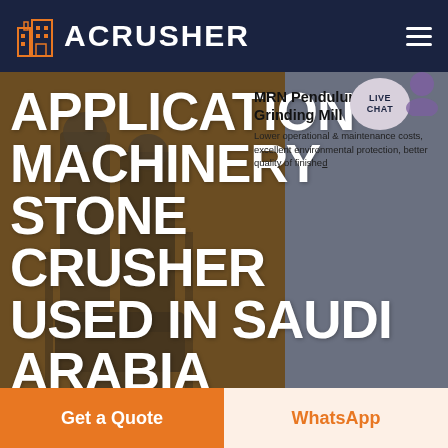ACRUSHER
APPLICATION MACHINERY STONE CRUSHER USED IN SAUDI ARABIA
[Figure (screenshot): Website screenshot of ACRUSHER product page showing a stone crusher machine in the background with MRN Pendulum Roller Grinding Mill product card overlay]
MRN Pendulum Roller Grinding Mill
Lower operational & maintenance costs, excellent environmental protection, better quality of finished
LIVE CHAT
HOME / PRODUCTS
Get a Quote
WhatsApp